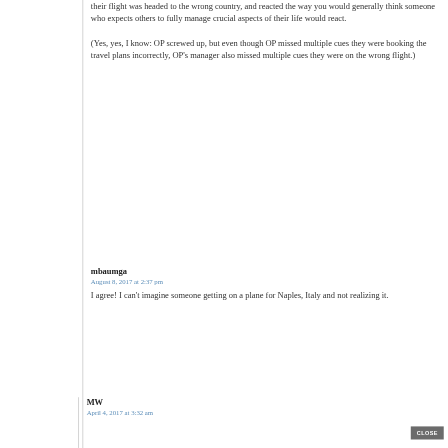their flight was headed to the wrong country, and reacted the way you would generally think someone who expects others to fully manage crucial aspects of their life would react.
(Yes, yes, I know: OP screwed up, but even though OP missed multiple cues they were booking the travel plans incorrectly, OP's manager also missed multiple cues they were on the wrong flight.)
mbaumga
August 8, 2017 at 2:37 pm
I agree! I can't imagine someone getting on a plane for Naples, Italy and not realizing it.
MW
April 4, 2017 at 3:32 am